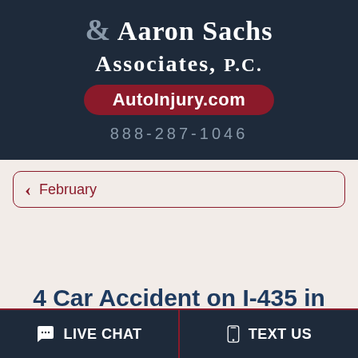Aaron Sachs & Associates, P.C. AutoInjury.com 888-287-1046
February
4 Car Accident on I-435 in Kansas City Leaves Missouri Driver Critically
LIVE CHAT   TEXT US